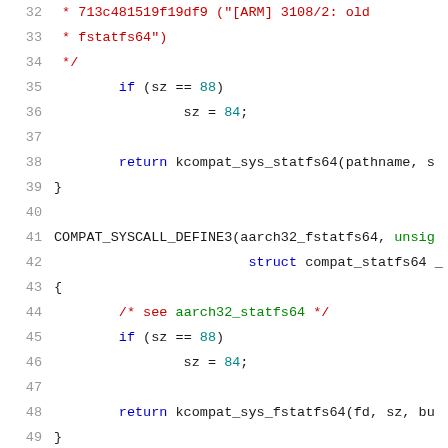[Figure (screenshot): Source code viewer showing C code lines 32-52, syntax highlighted with line numbers. Code shows aarch32 filesystem compatibility syscall implementations with comments, if statements, and return statements.]